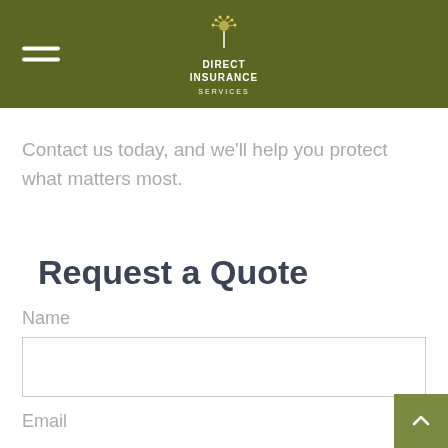Direct Insurance Services
Contact us today, and we'll help you protect what matters most.
Request a Quote
Name
Email